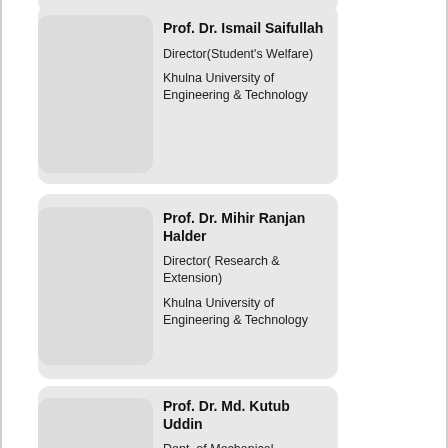[Figure (other): Profile card for Prof. Dr. Ismail Saifullah with photo placeholder on left and text on right]
Prof. Dr. Ismail Saifullah
Director(Student's Welfare)
Khulna University of Engineering & Technology
[Figure (other): Profile card for Prof. Dr. Mihir Ranjan Halder with photo placeholder on left and text on right]
Prof. Dr. Mihir Ranjan Halder
Director( Research & Extension)
Khulna University of Engineering & Technology
[Figure (other): Profile card for Prof. Dr. Md. Kutub Uddin with photo placeholder on left and text on right]
Prof. Dr. Md. Kutub Uddin
Dept. of Mechanical Engineering
Khulna University of Engineering & Technology